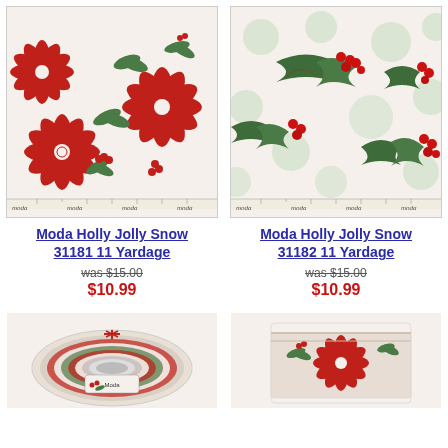[Figure (photo): Moda Holly Jolly Snow fabric with red poinsettia and holly pattern on cream background, with ruler edge and Moda branding]
Moda Holly Jolly Snow 31181 11 Yardage
was $15.00
$10.99
[Figure (photo): Moda Holly Jolly Snow fabric with holly berries and polka dots on cream background, with ruler edge and Moda branding]
Moda Holly Jolly Snow 31182 11 Yardage
was $15.00
$10.99
[Figure (photo): Jelly roll of Moda Holly Jolly Snow fabric showing rolled fabric with Christmas patterns]
[Figure (photo): Folded stack of Moda Holly Jolly Snow fabric showing poinsettia pattern]